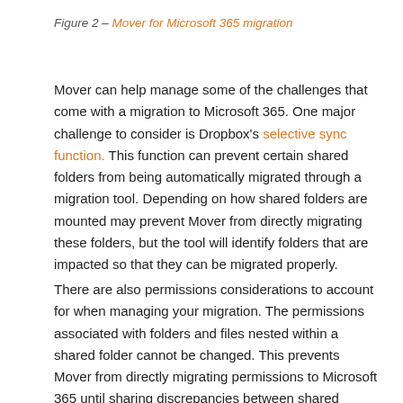Figure 2 – Mover for Microsoft 365 migration
Mover can help manage some of the challenges that come with a migration to Microsoft 365. One major challenge to consider is Dropbox's selective sync function. This function can prevent certain shared folders from being automatically migrated through a migration tool. Depending on how shared folders are mounted may prevent Mover from directly migrating these folders, but the tool will identify folders that are impacted so that they can be migrated properly.
There are also permissions considerations to account for when managing your migration. The permissions associated with folders and files nested within a shared folder cannot be changed. This prevents Mover from directly migrating permissions to Microsoft 365 until sharing discrepancies between shared folders and their